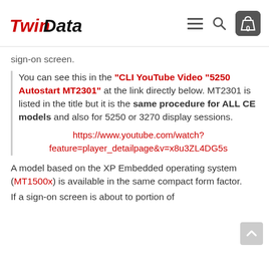Twin Data — navigation header with logo, hamburger menu, search, and cart (0)
sign-on screen.
You can see this in the "CLI YouTube Video "5250 Autostart MT2301" at the link directly below. MT2301 is listed in the title but it is the same procedure for ALL CE models and also for 5250 or 3270 display sessions.
https://www.youtube.com/watch?feature=player_detailpage&v=x8u3ZL4DG5s
A model based on the XP Embedded operating system (MT1500x) is available in the same compact form factor.
If a sign-on screen is about to portion of